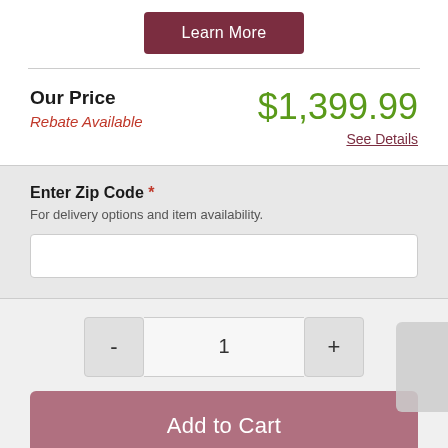Learn More
Our Price $1,399.99
Rebate Available
See Details
Enter Zip Code *
For delivery options and item availability.
- 1 +
Add to Cart
Share This Item